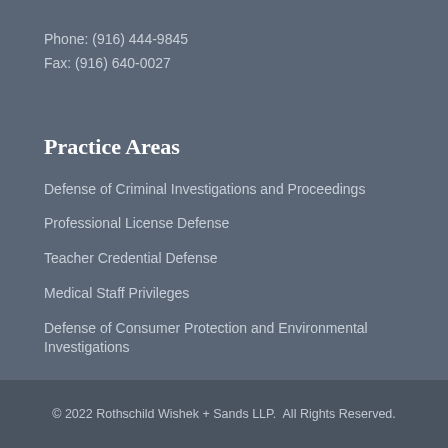Phone: (916) 444-9845
Fax: (916) 640-0027
Practice Areas
Defense of Criminal Investigations and Proceedings
Professional License Defense
Teacher Credential Defense
Medical Staff Privileges
Defense of Consumer Protection and Environmental Investigations
© 2022 Rothschild Wishek + Sands LLP.  All Rights Reserved.